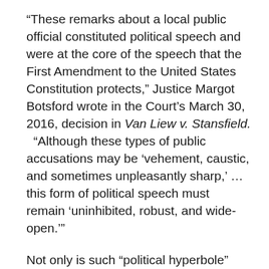“These remarks about a local public official constituted political speech and were at the core of the speech that the First Amendment to the United States Constitution protects,” Justice Margot Botsford wrote in the Court’s March 30, 2016, decision in Van Liew v. Stansfield.
  “Although these types of public accusations may be ‘vehement, caustic, and sometimes unpleasantly sharp,’ … this form of political speech must remain ‘uninhibited, robust, and wide-open.’”
Not only is such “political hyperbole” constitutionally protected, the Court said, but suing over it could itself get a thin-skinned politician in legal hot water. The Court rejected the aggrieved pol’s attempt to dismiss her detractor’s claims seeking money damages for